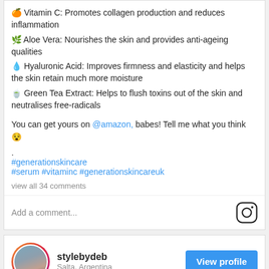🍊 Vitamin C: Promotes collagen production and reduces inflammation
🌿 Aloe Vera: Nourishes the skin and provides anti-ageing qualities
💧 Hyaluronic Acid: Improves firmness and elasticity and helps the skin retain much more moisture
🍵 Green Tea Extract: Helps to flush toxins out of the skin and neutralises free-radicals
You can get yours on @amazon, babes! Tell me what you think 😵
.
#generationskincare
#serum #vitaminc #generationskincareuk
view all 34 comments
Add a comment...
stylebydeb
Salta, Argentina
[Figure (photo): Social media profile image showing a person in a city street, with a building visible on the right and power lines on the left against a blue sky]